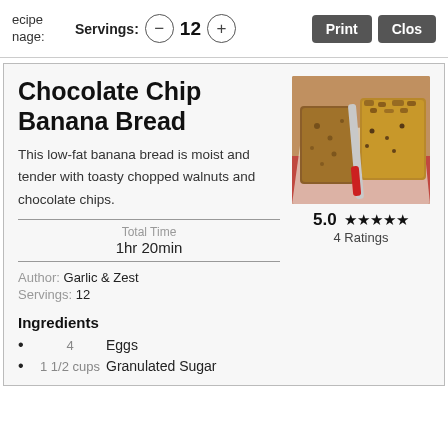Recipe page: Servings: — 12 + Print Close
Chocolate Chip Banana Bread
This low-fat banana bread is moist and tender with toasty chopped walnuts and chocolate chips.
[Figure (photo): Sliced chocolate chip banana bread with a red-handled knife on white parchment paper]
Total Time
1hr 20min
5.0 ★★★★★
4 Ratings
Author: Garlic & Zest
Servings: 12
Ingredients
4   Eggs
1 1/2 cups   Granulated Sugar